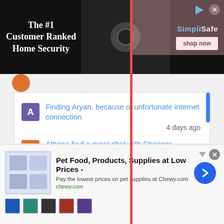[Figure (screenshot): Advertisement banner for SimpliSafe home security with text 'The #1 Customer Ranked Home Security', security camera image, SimpliSafe logo, and 'shop now' button on dark background]
meta-load-failed
Finding Aryan, because of unfortunate internet connection
4 days ago
Athena had a great chat with Stranger
2 days ago
Female India Here Need Muslim Only**
a day ago
Happy 76th Independence Day India!!! 🇮🇳
[Figure (screenshot): Bottom advertisement for Chewy.com pet food and supplies with product images, title 'Pet Food, Products, Supplies at Low Prices -', subtitle 'Pay the lowest prices on pet supplies at Chewy.com', link 'chewy.com', blue arrow button, and product thumbnail images]